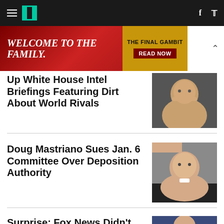HuffPost navigation bar with logo, hamburger menu, Facebook and Twitter icons
[Figure (photo): Advertisement banner: 'WELCOME TO THE FAMILY.' on red background with 'THE FINAL GAMBIT READ NOW' on gold background. Chevron/close button on right.]
Up White House Intel Briefings Featuring Dirt About World Rivals
[Figure (photo): Photo of a man (Trump) speaking at a microphone, close-up face.]
Doug Mastriano Sues Jan. 6 Committee Over Deposition Authority
[Figure (photo): Photo of a bald man (Doug Mastriano) speaking into a microphone at an event.]
Surprise: Fox News Didn't
[Figure (photo): Partial photo of a man at a Fox News related event.]